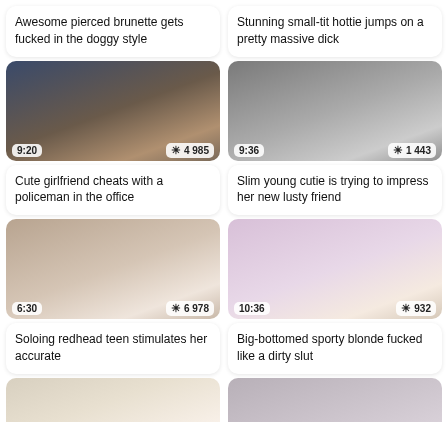Awesome pierced brunette gets fucked in the doggy style
Stunning small-tit hottie jumps on a pretty massive dick
[Figure (photo): Video thumbnail with duration 9:20 and 4 985 views]
[Figure (photo): Video thumbnail with duration 9:36 and 1 443 views]
Cute girlfriend cheats with a policeman in the office
Slim young cutie is trying to impress her new lusty friend
[Figure (photo): Video thumbnail with duration 6:30 and 6 978 views]
[Figure (photo): Video thumbnail with duration 10:36 and 932 views]
Soloing redhead teen stimulates her accurate
Big-bottomed sporty blonde fucked like a dirty slut
[Figure (photo): Partial video thumbnail (bottom row left)]
[Figure (photo): Partial video thumbnail (bottom row right)]